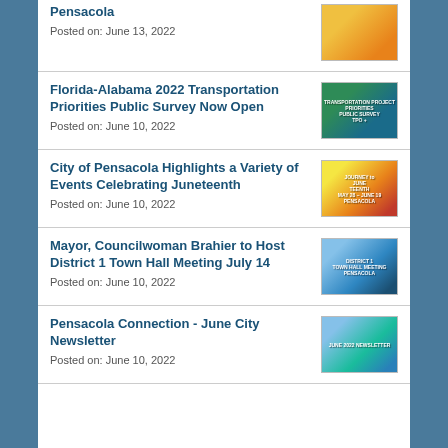Pensacola
Posted on: June 13, 2022
Florida-Alabama 2022 Transportation Priorities Public Survey Now Open
Posted on: June 10, 2022
City of Pensacola Highlights a Variety of Events Celebrating Juneteenth
Posted on: June 10, 2022
Mayor, Councilwoman Brahier to Host District 1 Town Hall Meeting July 14
Posted on: June 10, 2022
Pensacola Connection - June City Newsletter
Posted on: June 10, 2022